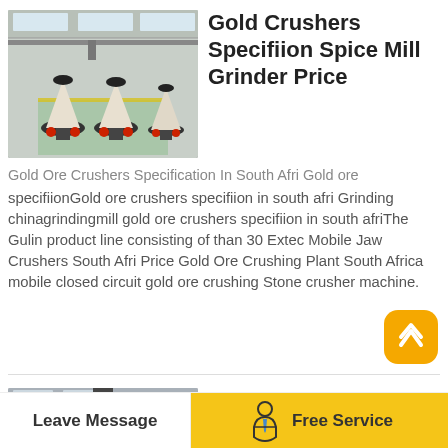[Figure (photo): Industrial warehouse floor showing multiple large cone crushers in black and white/red, with overhead crane structure visible.]
Gold Crushers Specifiion Spice Mill Grinder Price
Gold Ore Crushers Specification In South Afri Gold ore specifiionGold ore crushers specifiion in south afri Grinding chinagrindingmill gold ore crushers specifiion in south afriThe Gulin product line consisting of than 30 Extec Mobile Jaw Crushers South Afri Price Gold Ore Crushing Plant South Africa mobile closed circuit gold ore crushing Stone crusher machine.
[Figure (photo): Large industrial cone crusher machine in grey/white color inside a building or warehouse.]
Sandvik Cs660 Cone Crusher For High
Leave Message
Free Service